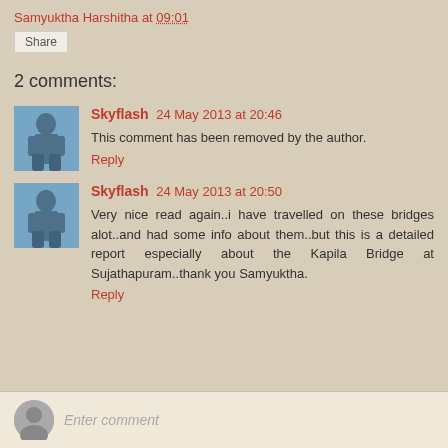Samyuktha Harshitha at 09:01
Share
2 comments:
Skyflash 24 May 2013 at 20:46
This comment has been removed by the author.
Reply
Skyflash 24 May 2013 at 20:50
Very nice read again..i have travelled on these bridges alot..and had some info about them..but this is a detailed report especially about the Kapila Bridge at Sujathapuram..thank you Samyuktha.
Reply
Enter comment